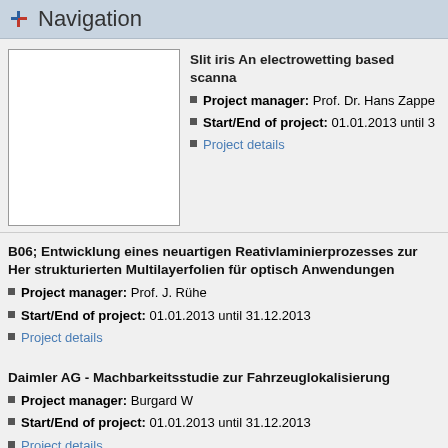Navigation
[Figure (photo): Blank white image placeholder box]
Slit iris An electrowetting based scanna
Project manager: Prof. Dr. Hans Zapp
Start/End of project: 01.01.2013 until ...
Project details
B06; Entwicklung eines neuartigen Reativlaminierprozesses zur Her strukturierten Multilayerfolien für optisch Anwendungen
Project manager: Prof. J. Rühe
Start/End of project: 01.01.2013 until 31.12.2013
Project details
Daimler AG - Machbarkeitsstudie zur Fahrzeuglokalisierung
Project manager: Burgard W
Start/End of project: 01.01.2013 until 31.12.2013
Project details
2012